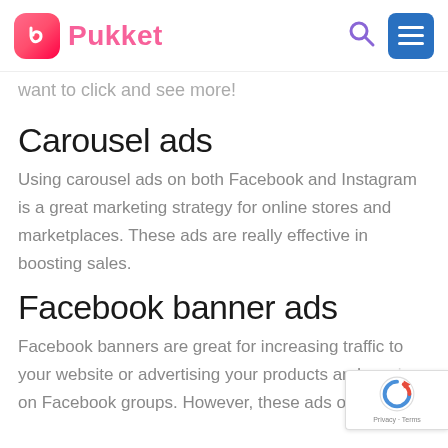Pukket
want to click and see more!
Carousel ads
Using carousel ads on both Facebook and Instagram is a great marketing strategy for online stores and marketplaces. These ads are really effective in boosting sales.
Facebook banner ads
Facebook banners are great for increasing traffic to your website or advertising your products and se... on Facebook groups. However, these ads only ap...